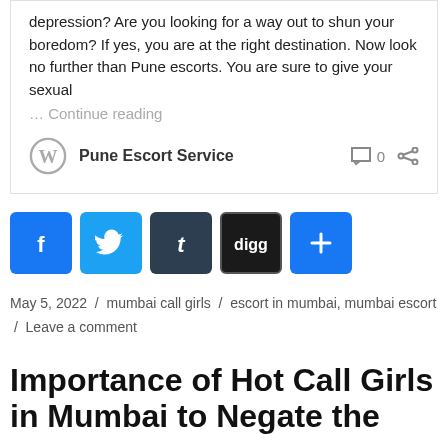depression?  Are you looking for a way out to shun your boredom? If yes, you are at the right destination. Now look no further than Pune escorts.  You are sure to give your sexual
... Continue reading
Pune Escort Service   0
[Figure (infographic): Social share buttons: Facebook, Twitter, Tumblr, Digg, Add/Plus]
May 5, 2022 / mumbai call girls / escort in mumbai, mumbai escort / Leave a comment
Importance of Hot Call Girls in Mumbai to Negate the